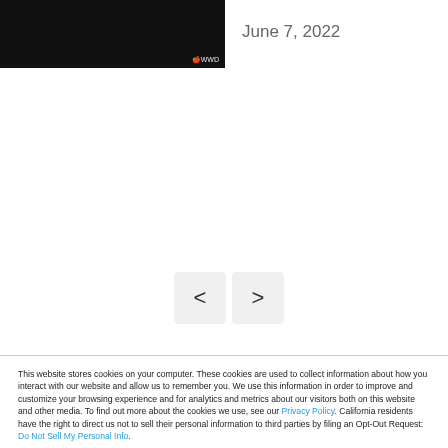[Figure (screenshot): Dark/black image area with WWDC label watermark in bottom right corner]
June 7, 2022
[Figure (other): Navigation buttons: left chevron (<) and right chevron (>) in light gray rounded square buttons]
This website stores cookies on your computer. These cookies are used to collect information about how you interact with our website and allow us to remember you. We use this information in order to improve and customize your browsing experience and for analytics and metrics about our visitors both on this website and other media. To find out more about the cookies we use, see our Privacy Policy. California residents have the right to direct us not to sell their personal information to third parties by filing an Opt-Out Request: Do Not Sell My Personal Info.
Accept